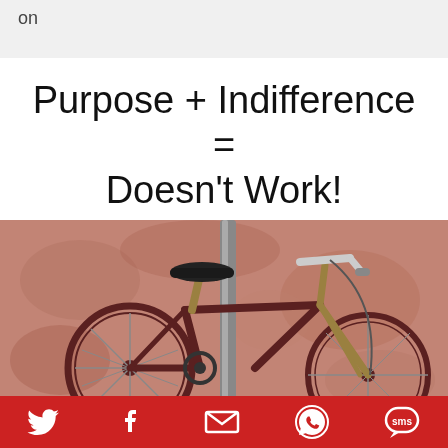on
Purpose + Indifference = Doesn’t Work!
[Figure (photo): A rusty old bicycle with mismatched handlebars locked to a metal pole against a weathered reddish-pink wall]
Social share icons: Twitter, Facebook, Email, WhatsApp, SMS